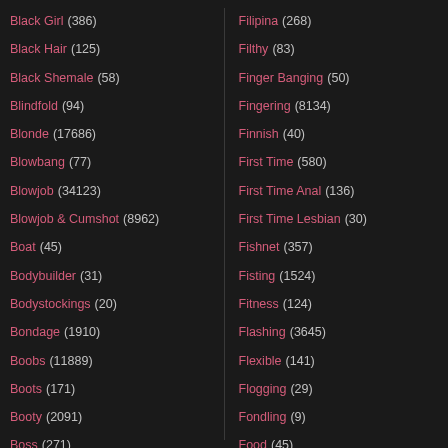Black Girl (386)
Black Hair (125)
Black Shemale (58)
Blindfold (94)
Blonde (17686)
Blowbang (77)
Blowjob (34123)
Blowjob & Cumshot (8962)
Boat (45)
Bodybuilder (31)
Bodystockings (20)
Bondage (1910)
Boobs (11889)
Boots (171)
Booty (2091)
Boss (271)
Filipina (268)
Filthy (83)
Finger Banging (50)
Fingering (8134)
Finnish (40)
First Time (580)
First Time Anal (136)
First Time Lesbian (30)
Fishnet (357)
Fisting (1524)
Fitness (124)
Flashing (3645)
Flexible (141)
Flogging (29)
Fondling (9)
Food (45)